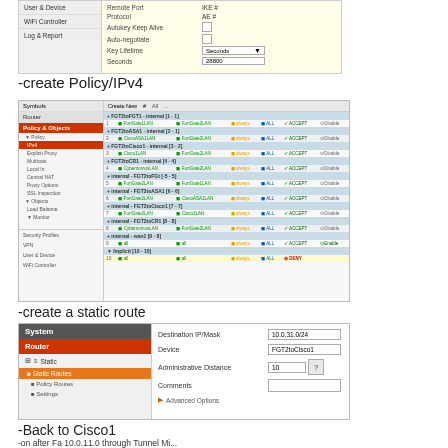[Figure (screenshot): FortiGate UI screenshot showing form fields: Remote Port, Protocol, Autokey Keep Alive, Auto-negotiate, Key Lifetime (Seconds), Seconds (28800)]
-create Policy/IPv4
[Figure (screenshot): FortiGate Policy & Objects IPv4 policy list showing multiple policy rules with source/destination interfaces, addresses, schedules, services, action (ACCEPT/DENY), and enable/disable status]
-create a static route
[Figure (screenshot): FortiGate System > Router > Static Routes form showing Destination IP/Mask: 10.0.31.0/24, Device: FGT2toCisco1, Administrative Distance: 10, Comments blank, Advanced Options]
-Back to Cisco1
-on after Fa 10.0.11.0 through Tunnel Mi...